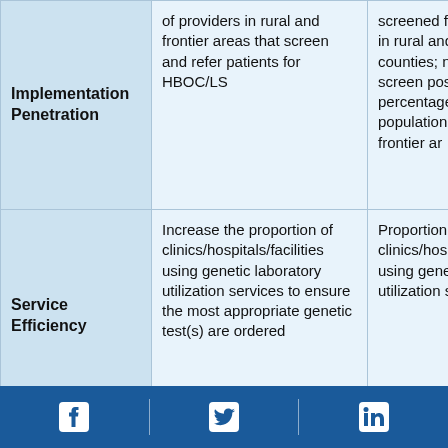|  | Goal/Objective | Measures/Metrics |
| --- | --- | --- |
| Implementation Penetration | of providers in rural and frontier areas that screen and refer patients for HBOC/LS | screened f... in rural and... counties; n... screen pos... percentage... population... frontier ar... |
| Service Efficiency | Increase the proportion of clinics/hospitals/facilities using genetic laboratory utilization services to ensure the most appropriate genetic test(s) are ordered | Proportion... clinics/hos... using gene... utilization s... |
Social media icons: Facebook, Twitter, LinkedIn